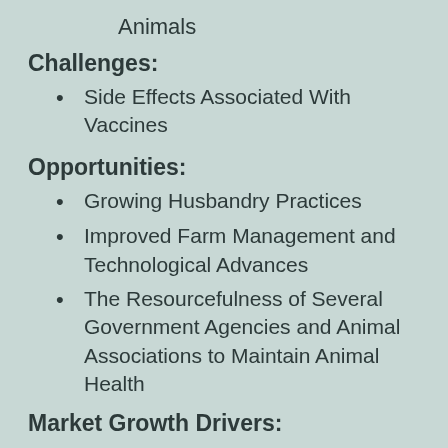Animals
Challenges:
Side Effects Associated With Vaccines
Opportunities:
Growing Husbandry Practices
Improved Farm Management and Technological Advances
The Resourcefulness of Several Government Agencies and Animal Associations to Maintain Animal Health
Market Growth Drivers: